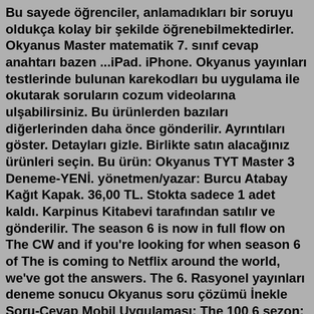Bu sayede öğrenciler, anlamadıkları bir soruyu oldukça kolay bir şekilde öğrenebilmektedirler. Okyanus Master matematik 7. sınıf cevap anahtarı bazen ...iPad. iPhone. Okyanus yayınları testlerinde bulunan karekodları bu uygulama ile okutarak soruların cozum videolarına ulşabilirsiniz. Bu ürünlerden bazıları diğerlerinden daha önce gönderilir. Ayrıntıları göster. Detayları gizle. Birlikte satın alacağınız ürünleri seçin. Bu ürün: Okyanus TYT Master 3 Deneme-YENİ. yönetmen/yazar: Burcu Atabay Kağıt Kapak. 36,00 TL. Stokta sadece 1 adet kaldı. Karpinus Kitabevi tarafından satılır ve gönderilir. The season 6 is now in full flow on The CW and if you're looking for when season 6 of The is coming to Netflix around the world, we've got the answers. The 6. Rasyonel yayınları deneme sonucu Okyanus soru çözümü İnekle Soru-Cevap Mobil Uygulaması; The 100 6 sezon; Okyanus soru çözümü İnekle Soru-Cevap Mobil Uygulaması The 100 ...Dec 07, 2020 · Okyanus Yayıncılık Okyanus Video Çözümleri. Okyanus master paragrafın soru